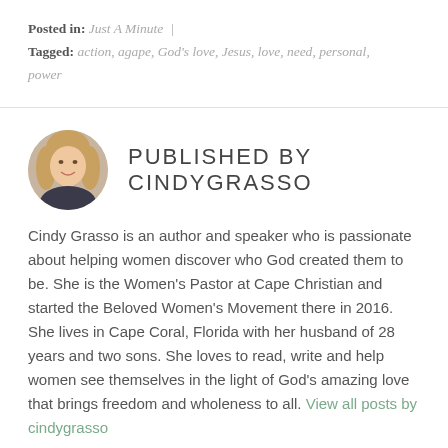Posted in: Just A Minute | Tagged: action, agape, God's love, Jesus, love, need, personal, power
PUBLISHED BY CINDYGRASSO
[Figure (photo): Circular avatar photo of Cindy Grasso, a woman with blonde hair, smiling]
Cindy Grasso is an author and speaker who is passionate about helping women discover who God created them to be. She is the Women's Pastor at Cape Christian and started the Beloved Women's Movement there in 2016. She lives in Cape Coral, Florida with her husband of 28 years and two sons. She loves to read, write and help women see themselves in the light of God's amazing love that brings freedom and wholeness to all. View all posts by cindygrasso